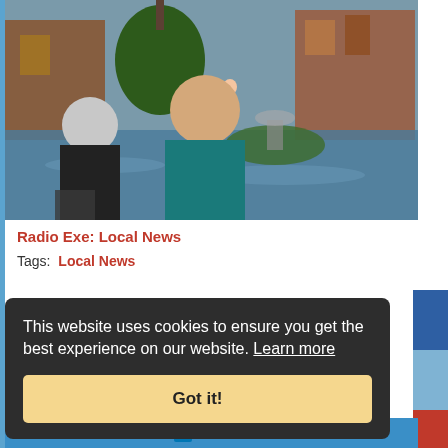[Figure (photo): Flooded town square or park area with people standing in floodwater. A fountain, trees, and red-brick buildings visible in background. Two people in foreground, one in dark clothing with grey hair, another in teal jacket. Workers in high-visibility vests visible in background.]
Radio Exe: Local News
Tags:   Local News
This website uses cookies to ensure you get the best experience on our website. Learn more
Got it!
SHARE